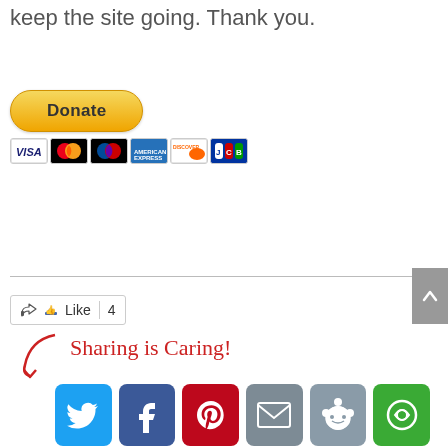keep the site going. Thank you.
[Figure (other): PayPal Donate button with payment card icons (Visa, Mastercard, Maestro, American Express, Discover, JCB)]
[Figure (other): Like button widget showing 4 likes]
[Figure (infographic): Sharing is caring! section with decorative handwritten text and arrow, plus social sharing icons for Twitter, Facebook, Pinterest, Email, Reddit, and a green share button]